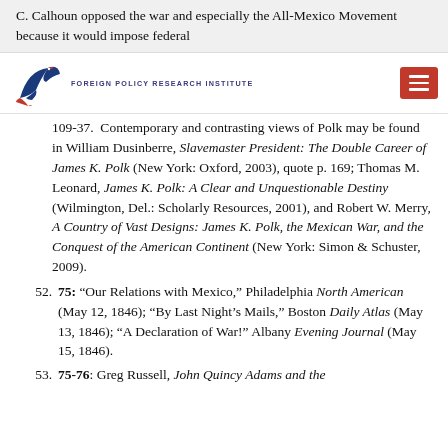C. Calhoun opposed the war and especially the All-Mexico Movement because it would impose federal
[Figure (logo): Foreign Policy Research Institute logo with stylized bird and institute name]
109-37. Contemporary and contrasting views of Polk may be found in William Dusinberre, Slavemaster President: The Double Career of James K. Polk (New York: Oxford, 2003), quote p. 169; Thomas M. Leonard, James K. Polk: A Clear and Unquestionable Destiny (Wilmington, Del.: Scholarly Resources, 2001), and Robert W. Merry, A Country of Vast Designs: James K. Polk, the Mexican War, and the Conquest of the American Continent (New York: Simon & Schuster, 2009).
52. 75: "Our Relations with Mexico," Philadelphia North American (May 12, 1846); "By Last Night's Mails," Boston Daily Atlas (May 13, 1846); "A Declaration of War!" Albany Evening Journal (May 15, 1846).
53. 75-76: Greg Russell, John Quincy Adams and the